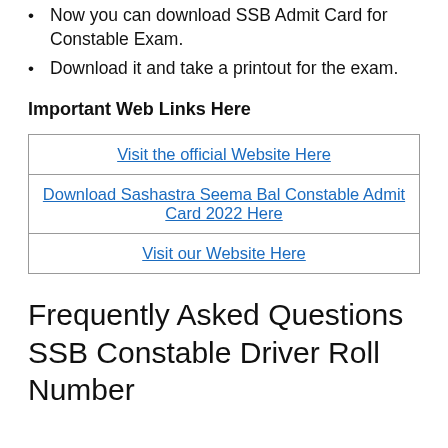Now you can download SSB Admit Card for Constable Exam.
Download it and take a printout for the exam.
Important Web Links Here
| Visit the official Website Here |
| Download Sashastra Seema Bal Constable Admit Card 2022 Here |
| Visit our Website Here |
Frequently Asked Questions SSB Constable Driver Roll Number